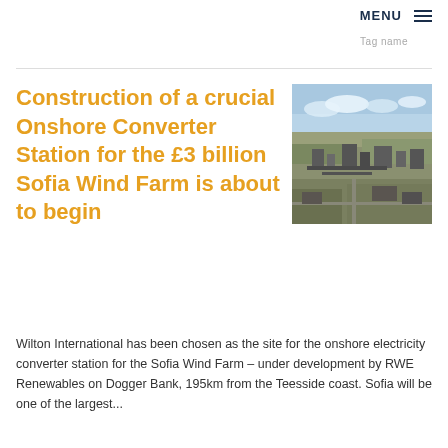MENU
Construction of a crucial Onshore Converter Station for the £3 billion Sofia Wind Farm is about to begin
[Figure (photo): Aerial photograph of the Wilton International industrial site on Teesside, showing large industrial facilities and surrounding landscape from above.]
Wilton International has been chosen as the site for the onshore electricity converter station for the Sofia Wind Farm – under development by RWE Renewables on Dogger Bank, 195km from the Teesside coast. Sofia will be one of the largest...
Read more >